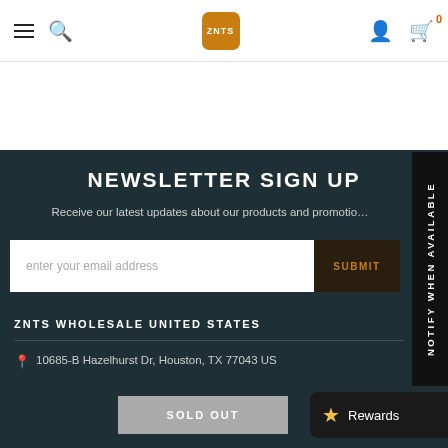ZNTS navigation bar with hamburger menu, search icon, ZNTS logo, user icon, cart icon with 0
NEWSLETTER SIGN UP
Receive our latest updates about our products and promotions
enter your email address  SUBMIT
ZNTS WHOLESALE UNITED STATES
10685-B Hazelhurst Dr, Houston, TX 77043 US
SOLD OUT
Rewards
NOTIFY WHEN AVAILABLE